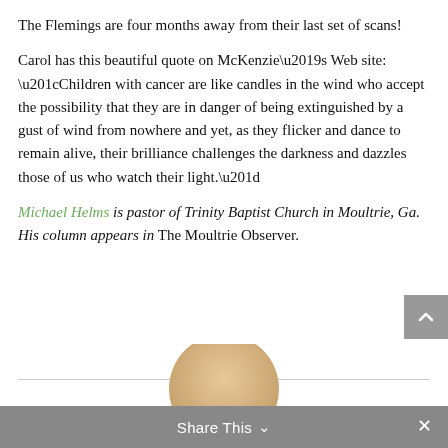The Flemings are four months away from their last set of scans!
Carol has this beautiful quote on McKenzie’s Web site: “Children with cancer are like candles in the wind who accept the possibility that they are in danger of being extinguished by a gust of wind from nowhere and yet, as they flicker and dance to remain alive, their brilliance challenges the darkness and dazzles those of us who watch their light.”
Michael Helms is pastor of Trinity Baptist Church in Moultrie, Ga. His column appears in The Moultrie Observer.
[Figure (photo): Partial photo of a person visible at the bottom of the page behind a share bar]
Share This ∨  ×